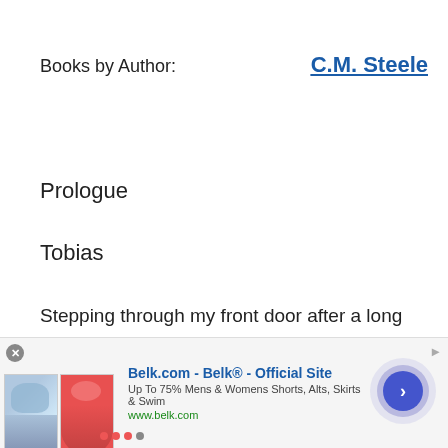Books by Author:    C.M. Steele
Prologue
Tobias
Stepping through my front door after a long day dealing with one problem after another, all I want is a tall glass of iced tea and a hot meal before hitting the shower. My bones ache from baling hay and wrangling a dozen little lambs
[Figure (screenshot): Advertisement banner for Belk.com showing clothing items (floral shorts, red skirt), text 'Belk.com - Belk® - Official Site', 'Up To 75% Mens & Womens Shorts, Alts, Skirts & Swim', 'www.belk.com', with a circular arrow navigation button and carousel dots.]